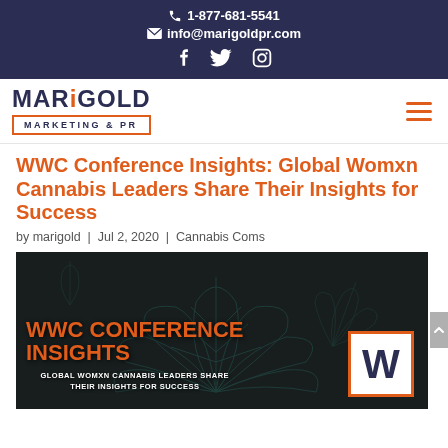1-877-681-5541 | info@marigoldpr.com
[Figure (logo): Marigold Marketing & PR logo with hamburger menu icon]
WWC Conference Insights: Global Womxn Cannabis Leaders Share Their Insights for Success
by marigold | Jul 2, 2020 | Cannabis Coms
[Figure (photo): Dark background with cannabis leaf outlines. Text reads: WWC CONFERENCE INSIGHTS / GLOBAL WOMXN CANNABIS LEADERS SHARE THEIR INSIGHTS FOR SUCCESS. Orange W logo in bottom right corner.]